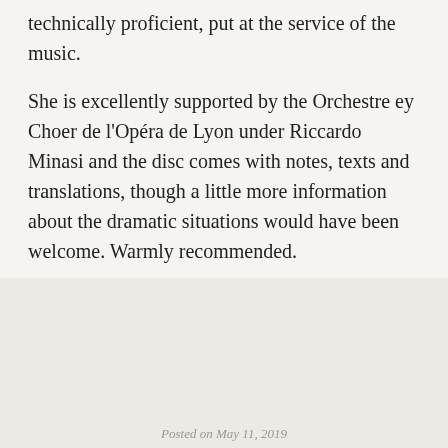technically proficient, put at the service of the music.
She is excellently supported by the Orchestre ey Choer de l’Opéra de Lyon under Riccardo Minasi and the disc comes with notes, texts and translations, though a little more information about the dramatic situations would have been welcome. Warmly recommended.
[Figure (other): A circular button or pin icon with a pushpin/thumbtack symbol in the center, set against a light gray background section.]
Posted on May 11, 2019